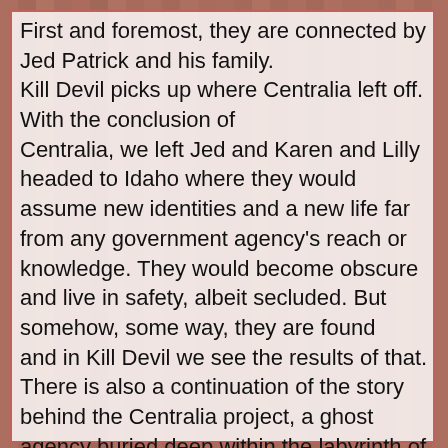First and foremost, they are connected by Jed Patrick and his family. Kill Devil picks up where Centralia left off. With the conclusion of Centralia, we left Jed and Karen and Lilly headed to Idaho where they would assume new identities and a new life far from any government agency's reach or knowledge. They would become obscure and live in safety, albeit secluded. But somehow, some way, they are found and in Kill Devil we see the results of that. There is also a continuation of the story behind the Centralia project, a ghost agency buried deep within the labyrinth of Washington politics. Jed is still battling this foe and continues to battle the enemy within himself as well, his memories